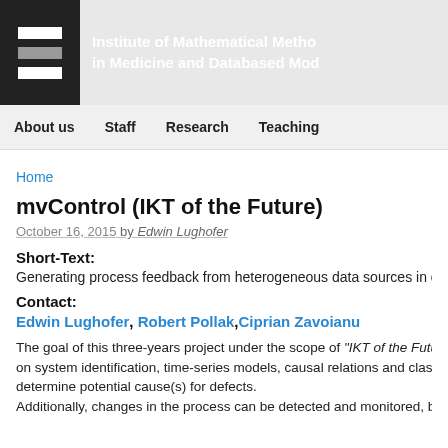Institute of Mathematical Methods in Medicine and Databased Modelling
About us  Staff  Research  Teaching
Home
mvControl (IKT of the Future)
October 16, 2015 by Edwin Lughofer
Short-Text:
Generating process feedback from heterogeneous data sources in qu...
Contact:
Edwin Lughofer, Robert Pollak, Ciprian Zavoianu
The goal of this three-years project under the scope of "IKT of the Future" is based on system identification, time-series models, causal relations and classification to determine potential cause(s) for defects. Additionally, changes in the process can be detected and monitored, b...